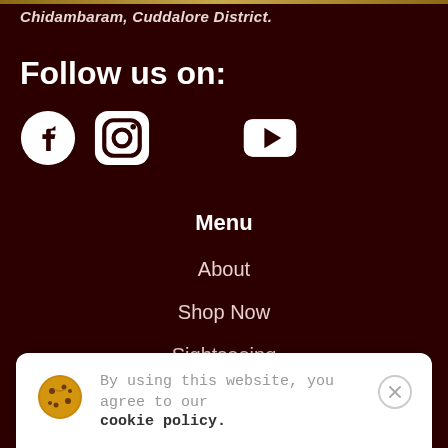Chidambaram, Cuddalore District.
Follow us on:
[Figure (illustration): Social media icons: Facebook, Instagram, Twitter, YouTube]
Menu
About
Shop Now
Sightseeing
Contact
By using this website, you agree to our cookie policy.